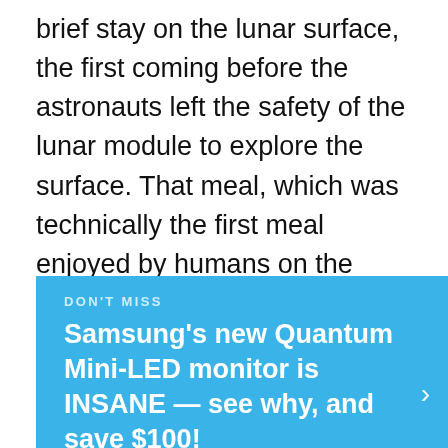brief stay on the lunar surface, the first coming before the astronauts left the safety of the lunar module to explore the surface. That meal, which was technically the first meal enjoyed by humans on the Moon, sounds a bit like something a hungry college student might eat when funds are running low.
DON'T MISS
Samsung's new Quantum Mini-LED monitor is INSANE — see why, and save $100!